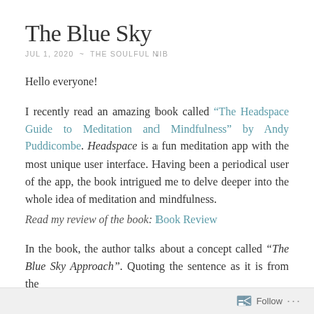The Blue Sky
JUL 1, 2020 ~ THE SOULFUL NIB
Hello everyone!
I recently read an amazing book called “The Headspace Guide to Meditation and Mindfulness” by Andy Puddicombe. Headspace is a fun meditation app with the most unique user interface. Having been a periodical user of the app, the book intrigued me to delve deeper into the whole idea of meditation and mindfulness.
Read my review of the book: Book Review
In the book, the author talks about a concept called “The Blue Sky Approach”. Quoting the sentence as it is from the